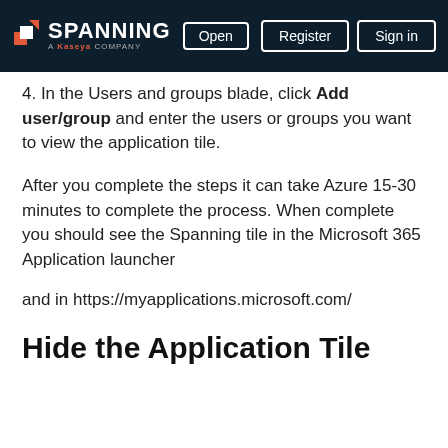SPANNING — a Kaseya Company | Open | Register | Sign in
4. In the Users and groups blade, click Add user/group and enter the users or groups you want to view the application tile.
After you complete the steps it can take Azure 15-30 minutes to complete the process. When complete you should see the Spanning tile in the Microsoft 365 Application launcher
and in https://myapplications.microsoft.com/
Hide the Application Tile